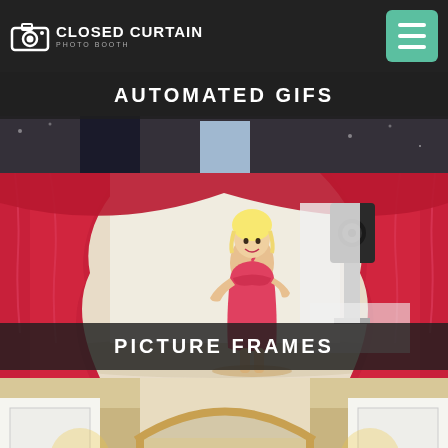CLOSED CURTAIN PHOTO BOOTH
AUTOMATED GIFS
[Figure (photo): Top photo strip showing people at event, dark clothing, sparkly background]
[Figure (photo): Photo booth setup with red curtains draped and a Marilyn Monroe lookalike in red dress standing inside the booth]
PICTURE FRAMES
[Figure (photo): Bottom photo showing elegant doorway/archway with photo strip props]